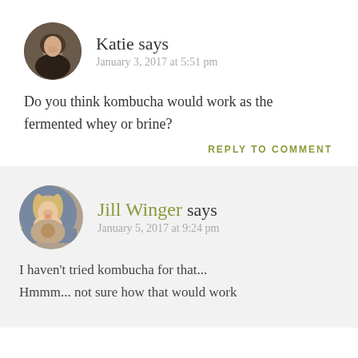Katie says
January 3, 2017 at 5:51 pm
Do you think kombucha would work as the fermented whey or brine?
REPLY TO COMMENT
Jill Winger says
January 5, 2017 at 9:24 pm
I haven't tried kombucha for that... Hmmm... not sure how that would work